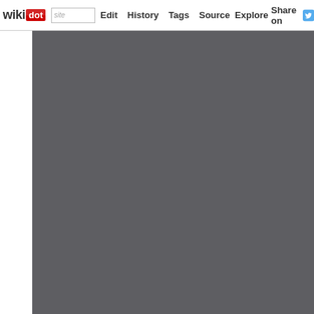wikidot | site Edit History Tags Source Explore Share on
[Figure (screenshot): Wikidot website navigation bar with logo, Edit, History, Tags, Source, Explore, and Share on Twitter buttons. Below is a large dark gray content area with a white left sidebar.]